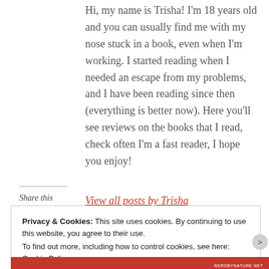Hi, my name is Trisha! I'm 18 years old and you can usually find me with my nose stuck in a book, even when I'm working. I started reading when I needed an escape from my problems, and I have been reading since then (everything is better now). Here you'll see reviews on the books that I read, check often I'm a fast reader, I hope you enjoy!
View all posts by Trisha
Share this
Privacy & Cookies: This site uses cookies. By continuing to use this website, you agree to their use.
To find out more, including how to control cookies, see here: Cookie Policy
Close and accept